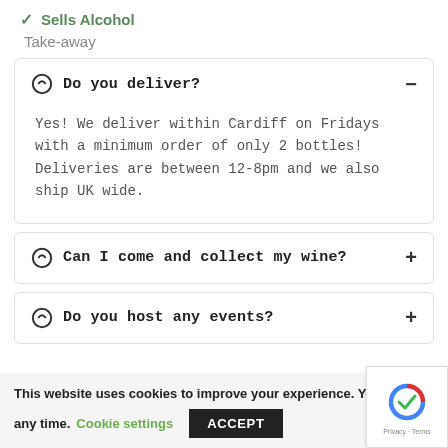✓ Sells Alcohol
Take-away
Do you deliver?
Yes! We deliver within Cardiff on Fridays with a minimum order of only 2 bottles! Deliveries are between 12-8pm and we also ship UK wide.
Can I come and collect my wine?
Do you host any events?
This website uses cookies to improve your experience. You can any time.
Cookie settings
ACCEPT